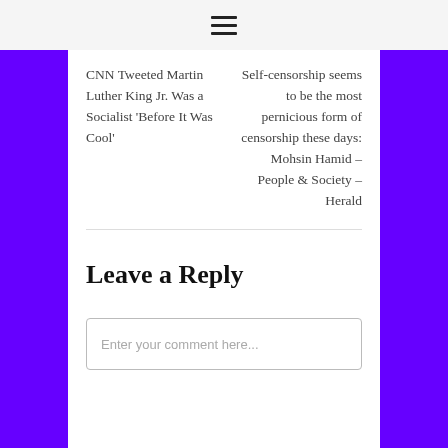☰
CNN Tweeted Martin Luther King Jr. Was a Socialist 'Before It Was Cool'
Self-censorship seems to be the most pernicious form of censorship these days: Mohsin Hamid – People & Society – Herald
Leave a Reply
Enter your comment here...